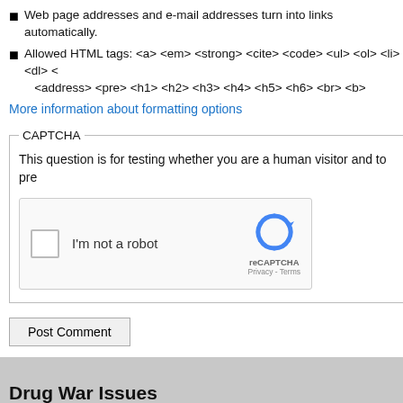Web page addresses and e-mail addresses turn into links automatically.
Allowed HTML tags: <a> <em> <strong> <cite> <code> <ul> <ol> <li> <dl> <address> <pre> <h1> <h2> <h3> <h4> <h5> <h6> <br> <b>
More information about formatting options
CAPTCHA
This question is for testing whether you are a human visitor and to pre
[Figure (other): reCAPTCHA widget with checkbox labeled I'm not a robot and reCAPTCHA logo with Privacy - Terms text]
Post Comment
Drug War Issues
Criminal Justice: Asset Forfeiture, Collateral Sanctions (College Aid, Drug Taxes, Housing, Drug Courts, Due Process, Felony Disenfranchisement, Incarceration, Policing (2011 Drug War Killings, 2013 Drug War Killings, 2014 Drug War Killings, 2015 Drug War Killings, 2016 Drug War...